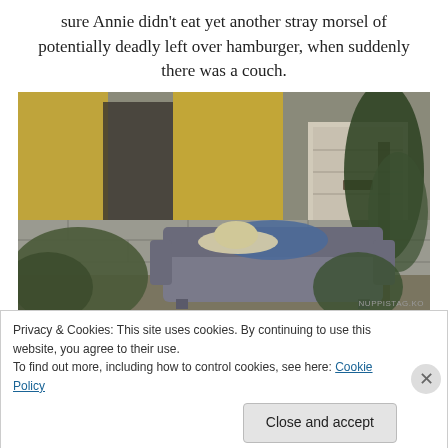sure Annie didn't eat yet another stray morsel of potentially deadly left over hamburger, when suddenly there was a couch.
[Figure (photo): An outdoor scene showing an old grey couch/sofa placed outside against a cinder block wall, with bushes/shrubs on either side, yellow building walls and a white garage door visible in the background.]
Privacy & Cookies: This site uses cookies. By continuing to use this website, you agree to their use.
To find out more, including how to control cookies, see here: Cookie Policy